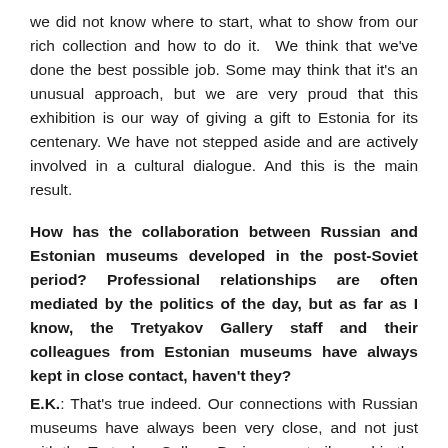we did not know where to start, what to show from our rich collection and how to do it. We think that we've done the best possible job. Some may think that it's an unusual approach, but we are very proud that this exhibition is our way of giving a gift to Estonia for its centenary. We have not stepped aside and are actively involved in a cultural dialogue. And this is the main result.
How has the collaboration between Russian and Estonian museums developed in the post-Soviet period? Professional relationships are often mediated by the politics of the day, but as far as I know, the Tretyakov Gallery staff and their colleagues from Estonian museums have always kept in close contact, haven't they?
E.K.: That's true indeed. Our connections with Russian museums have always been very close, and not just with the Tretyakov Gallery. During perestroika and in the 90s our connections were also very tight, especially with artists and curators, who were very open-minded. Art was beyond politics then. In the field of classical art, museum collaborations have also been strong and prolific. In the Soviet time and after independence, the Kadriorg Art Museum known for its rich collection of Russian art of the 18th-19th